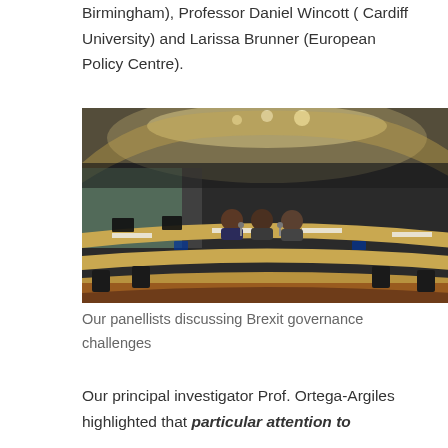Birmingham), Professor Daniel Wincott ( Cardiff University) and Larissa Brunner (European Policy Centre).
[Figure (photo): A committee or conference room, likely a European Parliament chamber, with curved tiered desks in light wood, black chairs, and a few panellists seated at the central table. The room has a modern curved ceiling with recessed lighting.]
Our panellists discussing Brexit governance challenges
Our principal investigator Prof. Ortega-Argiles highlighted that particular attention to